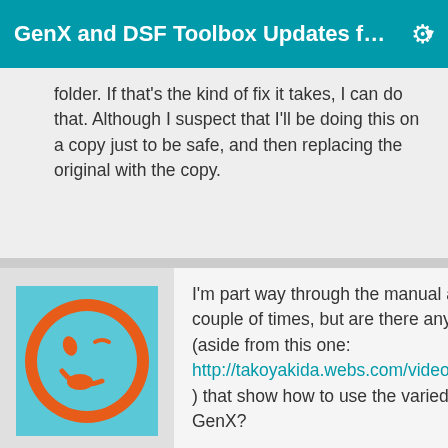GenX and DSF Toolbox Updates f… ▾
folder. If that's the kind of fix it takes, I can do that. Although I suspect that I'll be doing this on a copy just to be safe, and then replacing the original with the copy.
[Figure (illustration): Orange smiley face avatar with winking expression on a light blue background]
Mosk the Scribe
Posts: 879
September 2012
I'm part way through the manual and will read it a couple of times, but are there any video tutorials (aside from this one: http://takoyakida.webs.com/videos/GenX_Tut.htm ) that show how to use the varied features of GenX?